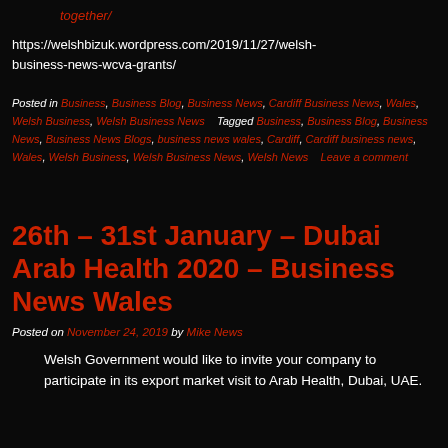together/
https://welshbizuk.wordpress.com/2019/11/27/welsh-business-news-wcva-grants/
Posted in Business, Business Blog, Business News, Cardiff Business News, Wales, Welsh Business, Welsh Business News   Tagged Business, Business Blog, Business News, Business News Blogs, business news wales, Cardiff, Cardiff business news, Wales, Welsh Business, Welsh Business News, Welsh News   Leave a comment
26th – 31st January – Dubai Arab Health 2020 – Business News Wales
Posted on November 24, 2019 by Mike News
Welsh Government would like to invite your company to participate in its export market visit to Arab Health, Dubai, UAE.